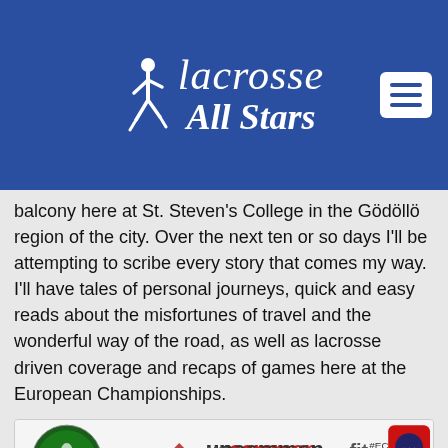[Figure (logo): Lacrosse All Stars logo with player figure on blue header background, with hamburger menu icon]
balcony here at St. Steven's College in the Gödöllö region of the city. Over the next ten or so days I'll be attempting to scribe every story that comes my way. I'll have tales of personal journeys, quick and easy reads about the misfortunes of travel and the wonderful way of the road, as well as lacrosse driven coverage and recaps of games here at the European Championships.
[Figure (logo): Advertisement banner: European Lacrosse logo, UncommonFit logo with www.uncommonfit.com and #EC16, Lacrosse All Stars logo]
If you've clicked on the link, and read up to this far, odds are you'll be clicking on another link with us here at Lacrosse All-Stars. If I am so fortunate to have you as a reader again, I